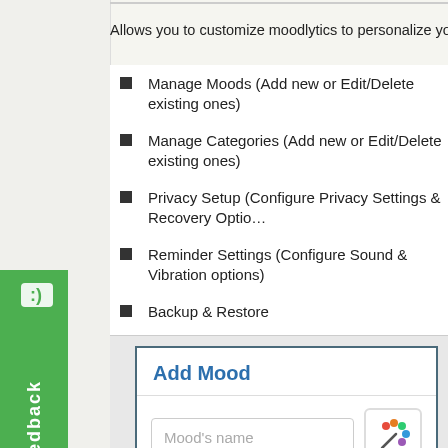Allows you to customize moodlytics to personalize your settings a…
Manage Moods (Add new or Edit/Delete existing ones)
Manage Categories (Add new or Edit/Delete existing ones)
Privacy Setup (Configure Privacy Settings & Recovery Optio…
Reminder Settings (Configure Sound & Vibration options)
Backup & Restore
Buy Features (Unlocks paid features)
[Figure (screenshot): Screenshot of the Add Mood screen in moodlytics app, showing a text input field labeled 'Mood's name' and a color picker icon button.]